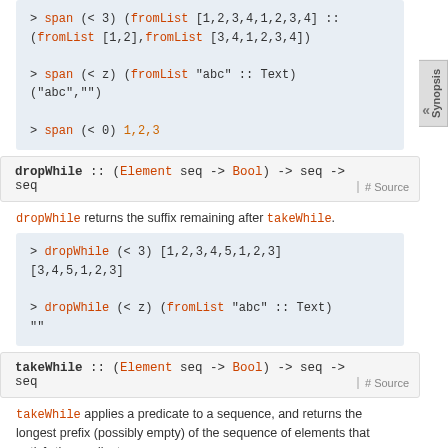> span (< 3) (fromList [1,2,3,4,1,2,3,4] :: (fromList [1,2],fromList [3,4,1,2,3,4])
> span (< z) (fromList "abc" :: Text)
("abc","")
> span (< 0) 1,2,3
dropWhile :: (Element seq -> Bool) -> seq -> seq
dropWhile returns the suffix remaining after takeWhile.
> dropWhile (< 3) [1,2,3,4,5,1,2,3]
[3,4,5,1,2,3]
> dropWhile (< z) (fromList "abc" :: Text)
""
takeWhile :: (Element seq -> Bool) -> seq -> seq
takeWhile applies a predicate to a sequence, and returns the longest prefix (possibly empty) of the sequence of elements that satisfy the predicate.